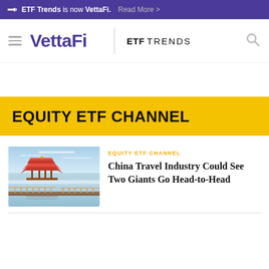ETF Trends is now VettaFi. Read More >
[Figure (logo): VettaFi logo with hamburger menu, ETF TRENDS wordmark and search icon navigation bar]
EQUITY ETF CHANNEL
EQUITY ETF CHANNEL
China Travel Industry Could See Two Giants Go Head-to-Head
[Figure (photo): Scenic photo of a traditional Chinese pavilion on a lake with a long bridge, misty sky background]